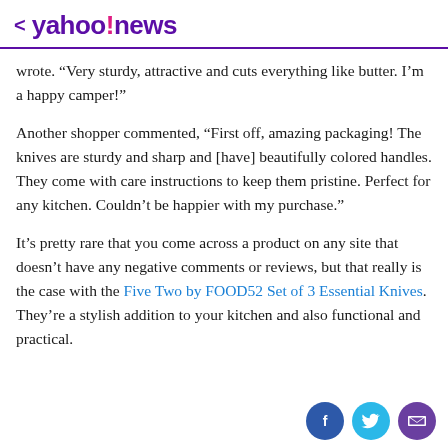< yahoo!news
wrote. “Very sturdy, attractive and cuts everything like butter. I’m a happy camper!”
Another shopper commented, “First off, amazing packaging! The knives are sturdy and sharp and [have] beautifully colored handles. They come with care instructions to keep them pristine. Perfect for any kitchen. Couldn’t be happier with my purchase.”
It’s pretty rare that you come across a product on any site that doesn’t have any negative comments or reviews, but that really is the case with the Five Two by FOOD52 Set of 3 Essential Knives. They’re a stylish addition to your kitchen and also functional and practical.